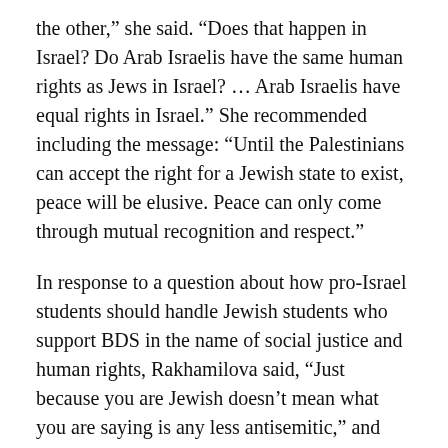the other,” she said. “Does that happen in Israel? Do Arab Israelis have the same human rights as Jews in Israel? … Arab Israelis have equal rights in Israel.” She recommended including the message: “Until the Palestinians can accept the right for a Jewish state to exist, peace will be elusive. Peace can only come through mutual recognition and respect.”
In response to a question about how pro-Israel students should handle Jewish students who support BDS in the name of social justice and human rights, Rakhamilova said, “Just because you are Jewish doesn’t mean what you are saying is any less antisemitic,” and whether the criticisms are antisemitic or not can be gauged using the three Ds.
A member of the Jewish Defence League (JDL) asked how to respond to an event such as the one held by the Progressive Jewish Alliance, who hosted Israeli